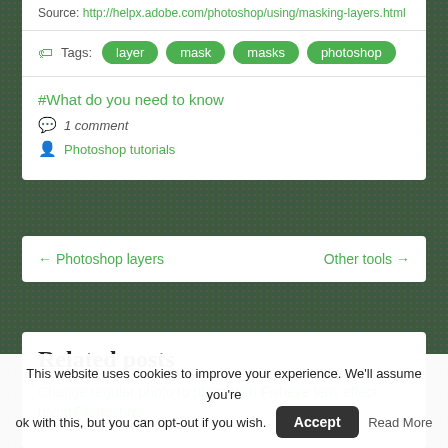Source: http://helpx.adobe.com/photoshop/using/masking-layers.html
Tags: layer mask masks photoshop
#What do you need to know
1 comment
Photoshop tutorials
← Photoshop layers
Other tools →
Related posts
Change regular photo to photo with Fisheye lens effect using Photoshop
This website uses cookies to improve your experience. We'll assume you're ok with this, but you can opt-out if you wish. Accept Read More